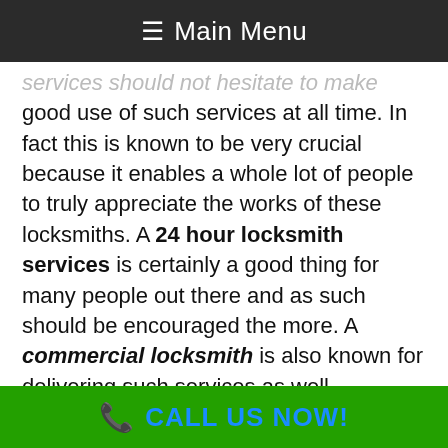≡ Main Menu
services should not hesitate to make good use of such services at all time. In fact this is known to be very crucial because it enables a whole lot of people to truly appreciate the works of these locksmiths. A 24 hour locksmith services is certainly a good thing for many people out there and as such should be encouraged the more. A commercial locksmith is also known for delivering such services as well.
24 Hour Locksmith Services- Testimonies
(partial bottom text)
CALL US NOW!